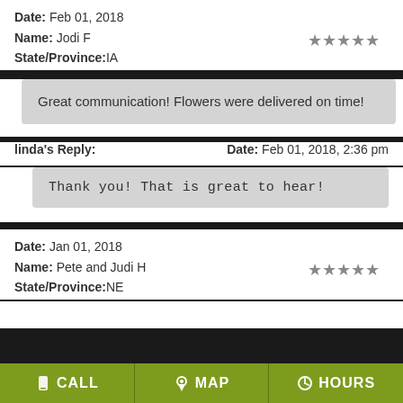Date: Feb 01, 2018
Name: Jodi F  State/Province: IA
Great communication! Flowers were delivered on time!
linda's Reply:   Date: Feb 01, 2018, 2:36 pm
Thank you! That is great to hear!
Date: Jan 01, 2018
Name: Pete and Judi H  State/Province: NE
CALL  MAP  HOURS